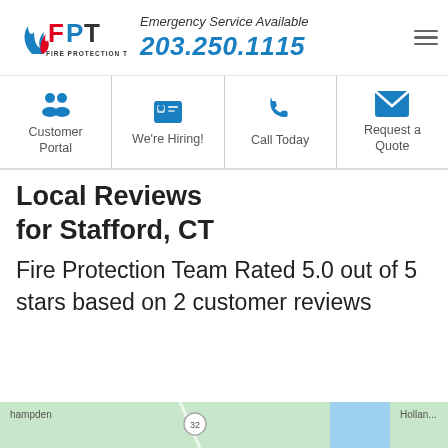[Figure (logo): FPT Fire Protection Team logo with stylized flame and text]
Emergency Service Available
203.250.1115
Customer Portal
We're Hiring!
Call Today
Request a Quote
Local Reviews for Stafford, CT
Fire Protection Team Rated 5.0 out of 5 stars based on 2 customer reviews
[Figure (map): Partial map showing Hampden area with road 32 marker and water feature]